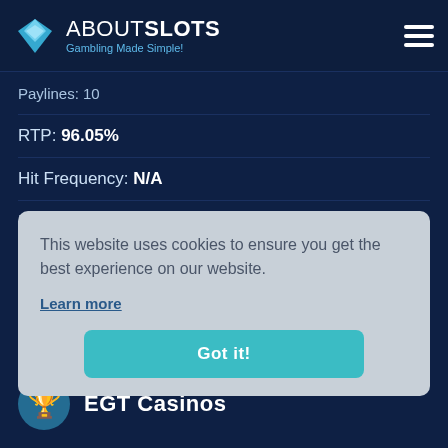ABOUT SLOTS - Gambling Made Simple!
Paylines: 10
RTP: 96.05%
Hit Frequency: N/A
Max Win: N/A
Volatility: Low-Mid
Min/Max Bet: €0.4/€60
Release Date: Nov 27, 2016
This website uses cookies to ensure you get the best experience on our website. Learn more Got it!
EGT Casinos